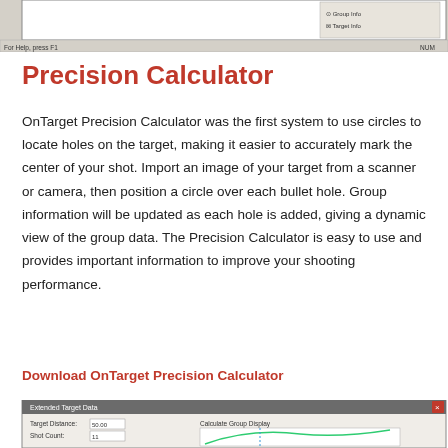[Figure (screenshot): Top portion of a software application screenshot showing toolbar and status bar with 'For Help, press F1' text and 'NUM' indicator]
Precision Calculator
OnTarget Precision Calculator was the first system to use circles to locate holes on the target, making it easier to accurately mark the center of your shot. Import an image of your target from a scanner or camera, then position a circle over each bullet hole. Group information will be updated as each hole is added, giving a dynamic view of the group data. The Precision Calculator is easy to use and provides important information to improve your shooting performance.
Download OnTarget Precision Calculator
[Figure (screenshot): Bottom portion of a software dialog titled 'Extended Target Data' showing fields for Target Distance (50.00) and Shot Count (11), and a 'Calculate Group Display' section with a graph/plot area]